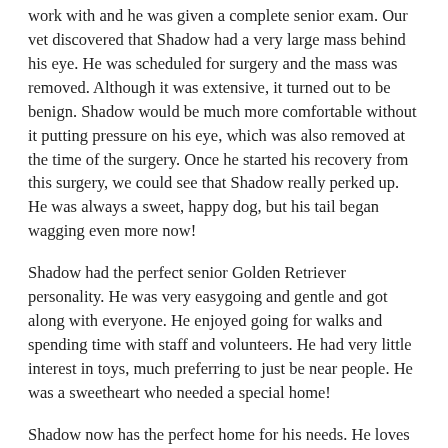work with and he was given a complete senior exam. Our vet discovered that Shadow had a very large mass behind his eye. He was scheduled for surgery and the mass was removed. Although it was extensive, it turned out to be benign. Shadow would be much more comfortable without it putting pressure on his eye, which was also removed at the time of the surgery. Once he started his recovery from this surgery, we could see that Shadow really perked up. He was always a sweet, happy dog, but his tail began wagging even more now!
Shadow had the perfect senior Golden Retriever personality. He was very easygoing and gentle and got along with everyone. He enjoyed going for walks and spending time with staff and volunteers. He had very little interest in toys, much preferring to just be near people. He was a sweetheart who needed a special home!
Shadow now has the perfect home for his needs. He loves his new home and yard, which has no stairs for him to negotiate. His adopter has a ramp to help him get in the car and he can't wait to go for rides. Shadow also loves his tiny new “sister,” Sasha the Pomeranian. They make an adorable pair! Shadow’s